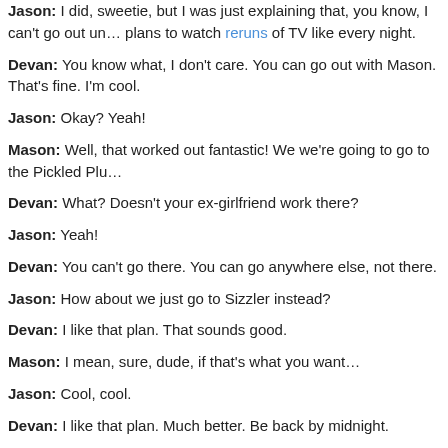Jason: I did, sweetie, but I was just explaining that, you know, I can't go out unless... plans to watch reruns of TV like every night.
Devan: You know what, I don't care. You can go out with Mason. That's fine. I'm cool.
Jason: Okay? Yeah!
Mason: Well, that worked out fantastic! We we're going to go to the Pickled Plu...
Devan: What? Doesn't your ex-girlfriend work there?
Jason: Yeah!
Devan: You can't go there. You can go anywhere else, not there.
Jason: How about we just go to Sizzler instead?
Devan: I like that plan. That sounds good.
Mason: I mean, sure, dude, if that's what you want...
Jason: Cool, cool.
Devan: I like that plan. Much better. Be back by midnight.
Jason: Oh, I will.
Grammar Point
Go Super to learn "Adjectives" from this lesson